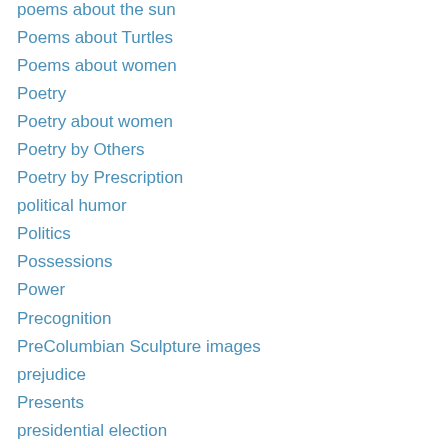poems about the sun
Poems about Turtles
Poems about women
Poetry
Poetry about women
Poetry by Others
Poetry by Prescription
political humor
Politics
Possessions
Power
Precognition
PreColumbian Sculpture images
prejudice
Presents
presidential election
Problems
Problems posting a blog
Procrastination
Progress?